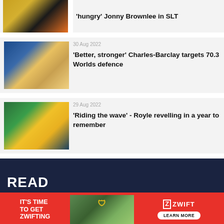[Figure (photo): Partial triathlon photo - top of news card cut off]
'hungry' Jonny Brownlee in SLT
[Figure (photo): Female triathlete swimmer, Red Bull headband, celebrating]
30 Aug 2022
'Better, stronger' Charles-Barclay targets 70.3 Worlds defence
[Figure (photo): Male triathlete holding yellow flag, celebrating, race banner in background]
29 Aug 2022
'Riding the wave' - Royle revelling in a year to remember
READ
[Figure (infographic): Zwift advertisement banner: IT'S TIME TO GET ZWIFTING with mountain biking image and LEARN MORE button]